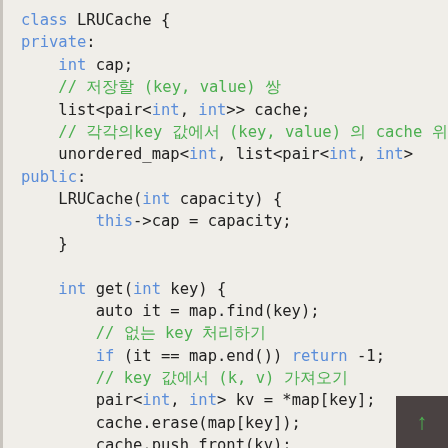class LRUCache {
private:
    int cap;
    // 저장할 (key, value) 쌍
    list<pair<int, int>> cache;
    // 각각의key 값에서 (key, value) 의 cache 위치
    unordered_map<int, list<pair<int, int>
public:
    LRUCache(int capacity) {
        this->cap = capacity;
    }

    int get(int key) {
        auto it = map.find(key);
        // 없는 key 처리하기
        if (it == map.end()) return -1;
        // key 값에서 (k, v) 가져오기
        pair<int, int> kv = *map[key];
        cache.erase(map[key]);
        cache.push_front(kv);